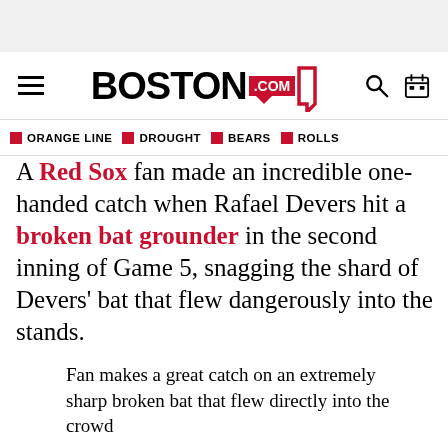[Figure (logo): Boston.com logo with hamburger menu, search icon, and calendar icon in navigation bar]
ORANGE LINE  DROUGHT  BEARS  ROLLS
A Red Sox fan made an incredible one-handed catch when Rafael Devers hit a broken bat grounder in the second inning of Game 5, snagging the shard of Devers' bat that flew dangerously into the stands.
Fan makes a great catch on an extremely sharp broken bat that flew directly into the crowd
pic.twitter.com/KwAiR0c32M